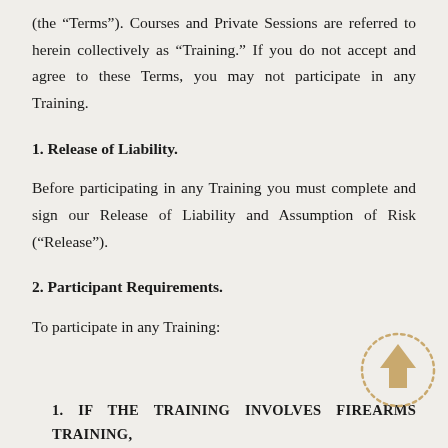(the “Terms”). Courses and Private Sessions are referred to herein collectively as “Training.” If you do not accept and agree to these Terms, you may not participate in any Training.
1. Release of Liability.
Before participating in any Training you must complete and sign our Release of Liability and Assumption of Risk (“Release”).
2. Participant Requirements.
To participate in any Training:
[Figure (illustration): An upward-pointing arrow icon in golden/tan color, surrounded by a dotted circular border, used as a navigation or scroll-up indicator.]
1. IF THE TRAINING INVOLVES FIREARMS TRAINING,